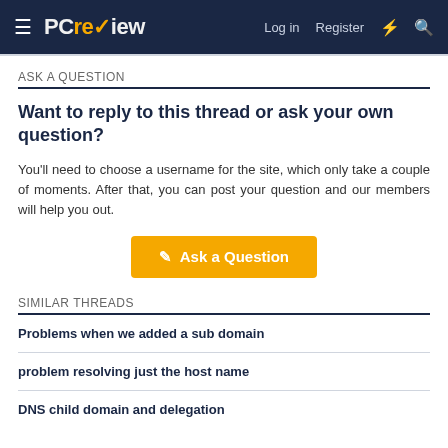PC review — Log in  Register
ASK A QUESTION
Want to reply to this thread or ask your own question?
You'll need to choose a username for the site, which only take a couple of moments. After that, you can post your question and our members will help you out.
Ask a Question
SIMILAR THREADS
Problems when we added a sub domain
problem resolving just the host name
DNS child domain and delegation